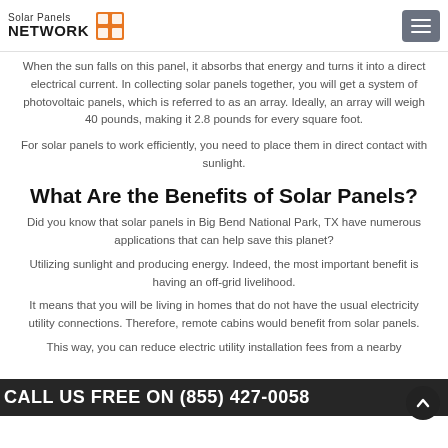Solar Panels NETWORK
When the sun falls on this panel, it absorbs that energy and turns it into a direct electrical current. In collecting solar panels together, you will get a system of photovoltaic panels, which is referred to as an array. Ideally, an array will weigh 40 pounds, making it 2.8 pounds for every square foot.
For solar panels to work efficiently, you need to place them in direct contact with sunlight.
What Are the Benefits of Solar Panels?
Did you know that solar panels in Big Bend National Park, TX have numerous applications that can help save this planet?
Utilizing sunlight and producing energy. Indeed, the most important benefit is having an off-grid livelihood.
It means that you will be living in homes that do not have the usual electricity utility connections. Therefore, remote cabins would benefit from solar panels.
This way, you can reduce electric utility installation fees from a nearby...
CALL US FREE ON (855) 427-0058